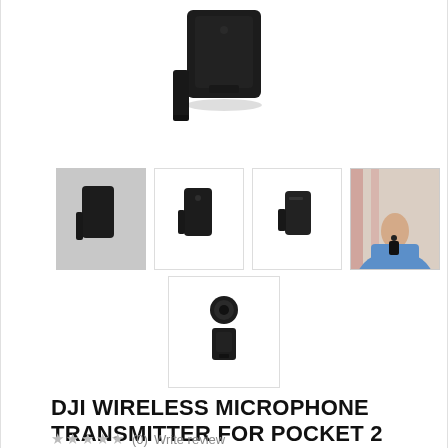[Figure (photo): Main product photo of DJI Wireless Microphone Transmitter for Pocket 2 — black rectangular device shown from front, partially cropped at top]
[Figure (photo): Thumbnail 1 (active/selected, gray background): DJI Wireless Microphone Transmitter front view]
[Figure (photo): Thumbnail 2: DJI Wireless Microphone Transmitter slightly angled front view on white]
[Figure (photo): Thumbnail 3: DJI Wireless Microphone Transmitter front view on white]
[Figure (photo): Thumbnail 4: Person wearing a blue sweater with the microphone transmitter clipped to neckline]
[Figure (photo): Thumbnail 5: Top-down view of DJI Wireless Microphone Transmitter showing microphone capsule and body]
DJI WIRELESS MICROPHONE TRANSMITTER FOR POCKET 2
★★★★★ (0)  Write review
Product Code: CPOS0000013301